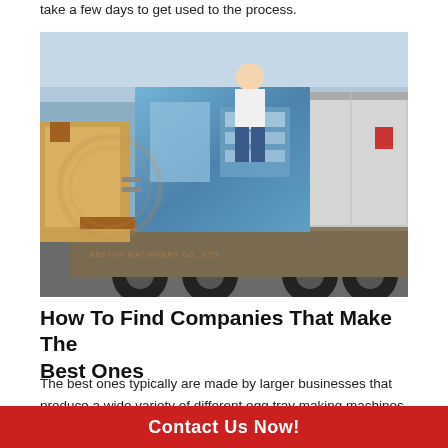take a few days to get used to the process.
[Figure (photo): A worker standing on a forklift loading a large blue industrial egg tray making machine onto a flatbed truck. A shipping container is visible on the right side. Watermark text reads BESTON MACHINERY CO. LTD.]
How To Find Companies That Make The Best Ones
The best ones typically are made by larger businesses that produce a wide variety of different egg tray making machines. Some of the...per hou...
Contact Us Now!